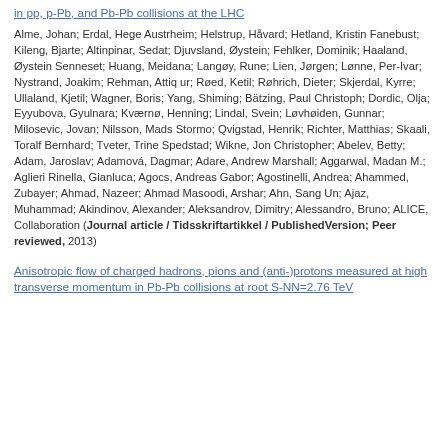in pp, p-Pb, and Pb-Pb collisions at the LHC
Alme, Johan; Erdal, Hege Austrheim; Helstrup, Håvard; Hetland, Kristin Fanebust; Kileng, Bjarte; Altinpinar, Sedat; Djuvsland, Øystein; Fehlker, Dominik; Haaland, Øystein Senneset; Huang, Meidana; Langøy, Rune; Lien, Jørgen; Lønne, Per-Ivar; Nystrand, Joakim; Rehman, Attiq ur; Røed, Ketil; Røhrich, Dieter; Skjerdal, Kyrre; Ullaland, Kjetil; Wagner, Boris; Yang, Shiming; Bätzing, Paul Christoph; Dordic, Olja; Eyyubova, Gyulnara; Kværnø, Henning; Lindal, Svein; Løvhøiden, Gunnar; Milosevic, Jovan; Nilsson, Mads Stormo; Qvigstad, Henrik; Richter, Matthias; Skaali, Toralf Bernhard; Tveter, Trine Spedstad; Wikne, Jon Christopher; Abelev, Betty; Adam, Jaroslav; Adamová, Dagmar; Adare, Andrew Marshall; Aggarwal, Madan M.; Aglieri Rinella, Gianluca; Agocs, Andreas Gabor; Agostinelli, Andrea; Ahammed, Zubayer; Ahmad, Nazeer; Ahmad Masoodi, Arshar; Ahn, Sang Un; Ajaz, Muhammad; Akindinov, Alexander; Aleksandrov, Dimitry; Alessandro, Bruno; ALICE, Collaboration (Journal article / Tidsskriftartikkel / PublishedVersion; Peer reviewed, 2013)
Anisotropic flow of charged hadrons, pions and (anti-)protons measured at high transverse momentum in Pb-Pb collisions at root S-NN=2.76 TeV